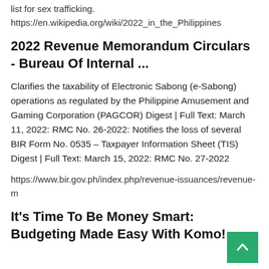list for sex trafficking. https://en.wikipedia.org/wiki/2022_in_the_Philippines
2022 Revenue Memorandum Circulars - Bureau Of Internal ...
Clarifies the taxability of Electronic Sabong (e-Sabong) operations as regulated by the Philippine Amusement and Gaming Corporation (PAGCOR) Digest | Full Text: March 11, 2022: RMC No. 26-2022: Notifies the loss of several BIR Form No. 0535 – Taxpayer Information Sheet (TIS) Digest | Full Text: March 15, 2022: RMC No. 27-2022
https://www.bir.gov.ph/index.php/revenue-issuances/revenue-m
It's Time To Be Money Smart: Budgeting Made Easy With Komo!